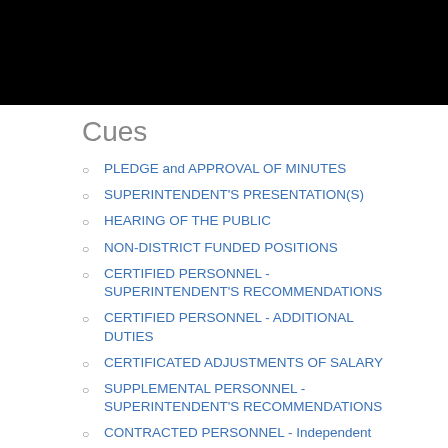[Figure (other): Black redacted/header bar at top of page]
Cues
PLEDGE and APPROVAL OF MINUTES
SUPERINTENDENT'S PRESENTATION(S)
HEARING OF THE PUBLIC
NON-DISTRICT FUNDED POSITIONS
CERTIFIED PERSONNEL - SUPERINTENDENT'S RECOMMENDATIONS
CERTIFIED PERSONNEL - ADDITIONAL DUTIES
CERTIFICATED ADJUSTMENTS OF SALARY
SUPPLEMENTAL PERSONNEL - SUPERINTENDENT'S RECOMMENDATIONS
CONTRACTED PERSONNEL - Independent